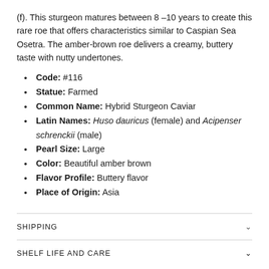(f). This sturgeon matures between 8 –10 years to create this rare roe that offers characteristics similar to Caspian Sea Osetra. The amber-brown roe delivers a creamy, buttery taste with nutty undertones.
Code: #116
Statue: Farmed
Common Name: Hybrid Sturgeon Caviar
Latin Names: Huso dauricus (female) and Acipenser schrenckii (male)
Pearl Size: Large
Color: Beautiful amber brown
Flavor Profile: Buttery flavor
Place of Origin: Asia
SHIPPING
SHELF LIFE AND CARE